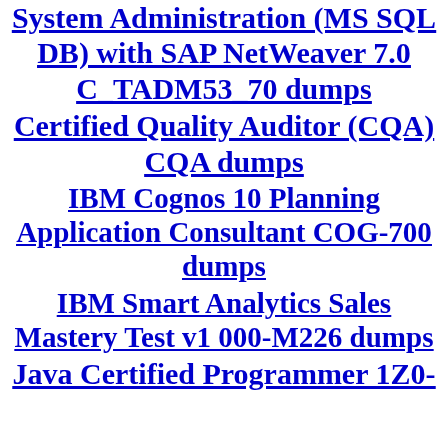System Administration (MS SQL DB) with SAP NetWeaver 7.0 C_TADM53_70 dumps
Certified Quality Auditor (CQA) CQA dumps
IBM Cognos 10 Planning Application Consultant COG-700 dumps
IBM Smart Analytics Sales Mastery Test v1 000-M226 dumps
Java Certified Programmer 1Z0-